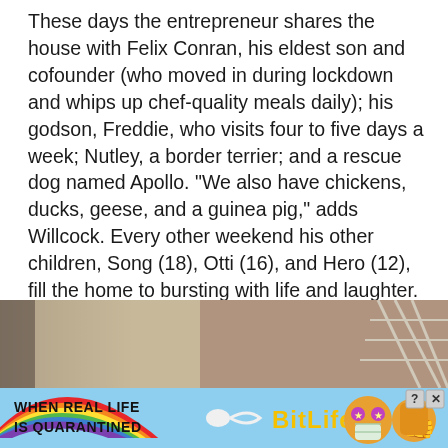These days the entrepreneur shares the house with Felix Conran, his eldest son and cofounder (who moved in during lockdown and whips up chef-quality meals daily); his godson, Freddie, who visits four to five days a week; Nutley, a border terrier; and a rescue dog named Apollo. “We also have chickens, ducks, geese, and a guinea pig,” adds Willcock. Every other weekend his other children, Song (18), Otti (16), and Hero (12), fill the home to bursting with life and laughter.
[Figure (photo): Partial interior photo showing what appears to be a room with beige/tan walls and a latticed window or screen on the right side]
[Figure (photo): BitLife mobile game advertisement banner with rainbow graphic, sperm icon, BitLife logo in yellow, and cartoon emoji-style characters. Text reads: WHEN REAL LIFE IS QUARANTINED]